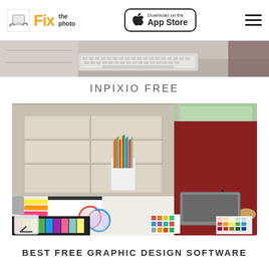Fix the photo | Download on the App Store
[Figure (photo): Partial photo of a desk with keyboard, top portion cropped]
INPIXIO FREE
[Figure (photo): Graphic designer working at desk with color swatches, colored pencils, markers, drawing tablet, and color wheel charts]
BEST FREE GRAPHIC DESIGN SOFTWARE